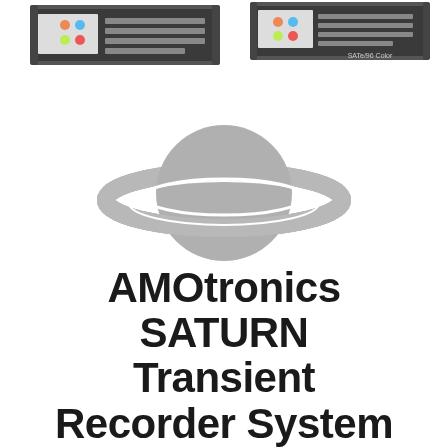[Figure (photo): Two AMOtronics SATURN rack-mounted transient recorder units photographed from above/front angle, one with 'SATe/96 Color' label visible]
[Figure (logo): AMOtronics Saturn logo: a grey planet with ring system]
AMOtronics SATURN Transient Recorder System